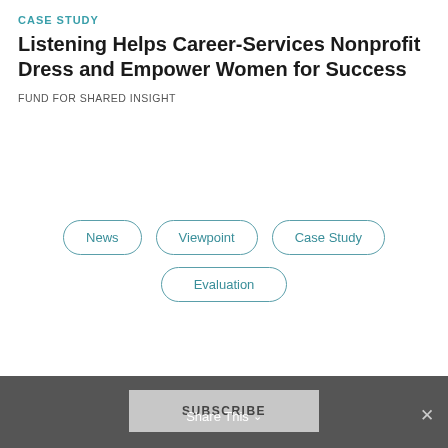CASE STUDY
Listening Helps Career-Services Nonprofit Dress and Empower Women for Success
FUND FOR SHARED INSIGHT
News
Viewpoint
Case Study
Evaluation
SUBSCRIBE  Share This ×